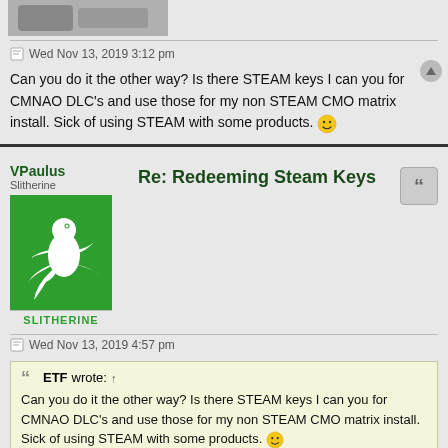Wed Nov 13, 2019 3:12 pm
Can you do it the other way? Is there STEAM keys I can you for CMNAO DLC's and use those for my non STEAM CMO matrix install. Sick of using STEAM with some products. 😀
VPaulus
Slitherine
[Figure (logo): Slitherine green logo with gecko/lizard illustration and SLITHERINE text below]
Re: Redeeming Steam Keys
Wed Nov 13, 2019 4:57 pm
ETF wrote: ↑
Can you do it the other way? Is there STEAM keys I can you for CMNAO DLC's and use those for my non STEAM CMO matrix install. Sick of using STEAM with some products. 😀
I'm afraid not. Steam doesn't allow the use of a 3rd party keys.